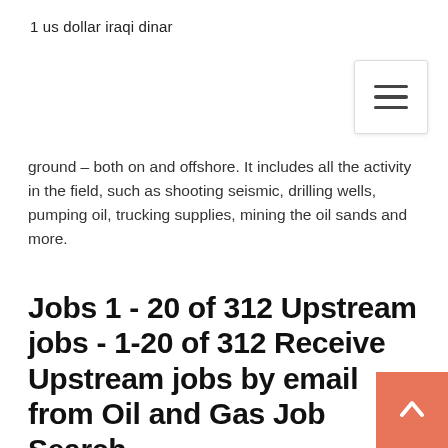1 us dollar iraqi dinar
ground – both on and offshore. It includes all the activity in the field, such as shooting seismic, drilling wells, pumping oil, trucking supplies, mining the oil sands and more.
Jobs 1 - 20 of 312 Upstream jobs - 1-20 of 312 Receive Upstream jobs by email from Oil and Gas Job Search.
Glassdoor lets you search all open Upstream oil and gas jobs. There are 2,080 Upstream oil and gas job openings. Search Upstream oil and gas jobs with Glassdoor. Get hired. Love your job. There are 2,080 Upstream oil and gas job openings. 376 Upstream Oil Gas Role jobs available on Indeed.com. Apply to Field Application Engineer, Control Room Operator, Researcher and more! Glassdoor lets you search all open Upstream oil and